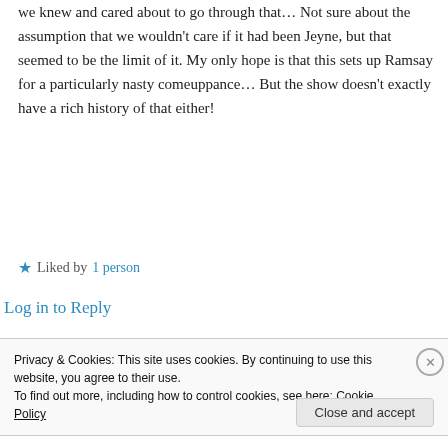we knew and cared about to go through that… Not sure about the assumption that we wouldn't care if it had been Jeyne, but that seemed to be the limit of it. My only hope is that this sets up Ramsay for a particularly nasty comeuppance… But the show doesn't exactly have a rich history of that either!
★ Liked by 1 person
Log in to Reply
Privacy & Cookies: This site uses cookies. By continuing to use this website, you agree to their use.
To find out more, including how to control cookies, see here: Cookie Policy
Close and accept